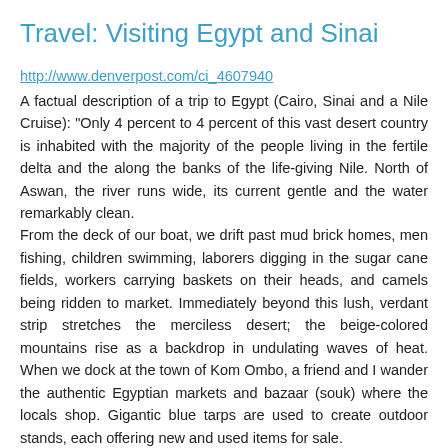Travel: Visiting Egypt and Sinai
http://www.denverpost.com/ci_4607940
A factual description of a trip to Egypt (Cairo, Sinai and a Nile Cruise): "Only 4 percent to 4 percent of this vast desert country is inhabited with the majority of the people living in the fertile delta and the along the banks of the life-giving Nile. North of Aswan, the river runs wide, its current gentle and the water remarkably clean.
From the deck of our boat, we drift past mud brick homes, men fishing, children swimming, laborers digging in the sugar cane fields, workers carrying baskets on their heads, and camels being ridden to market. Immediately beyond this lush, verdant strip stretches the merciless desert; the beige-colored mountains rise as a backdrop in undulating waves of heat. When we dock at the town of Kom Ombo, a friend and I wander the authentic Egyptian markets and bazaar (souk) where the locals shop. Gigantic blue tarps are used to create outdoor stands, each offering new and used items for sale.
After a little shopping, we retire to our ship, where we watch bejeweled belly dancers and swirling Sufi dancers in colorful